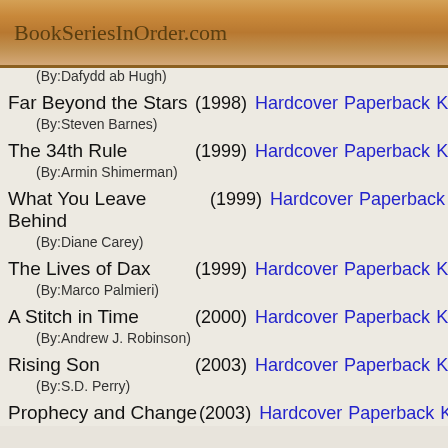BookSeriesInOrder.com
(By:Dafydd ab Hugh)
Far Beyond the Stars (1998) Hardcover Paperback Kindle (By:Steven Barnes)
The 34th Rule (1999) Hardcover Paperback Kindle (By:Armin Shimerman)
What You Leave Behind (1999) Hardcover Paperback Kindle (By:Diane Carey)
The Lives of Dax (1999) Hardcover Paperback Kindle (By:Marco Palmieri)
A Stitch in Time (2000) Hardcover Paperback Kindle (By:Andrew J. Robinson)
Rising Son (2003) Hardcover Paperback Kindle (By:S.D. Perry)
Prophecy and Change (2003) Hardcover Paperback Kindle